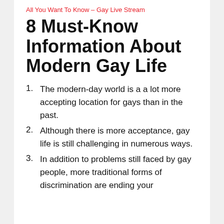All You Want To Know – Gay Live Stream
8 Must-Know Information About Modern Gay Life
The modern-day world is a a lot more accepting location for gays than in the past.
Although there is more acceptance, gay life is still challenging in numerous ways.
In addition to problems still faced by gay people, more traditional forms of discrimination are ending your...